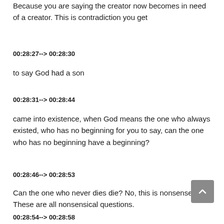Because you are saying the creator now becomes in need of a creator. This is contradiction you get
00:28:27--> 00:28:30
to say God had a son
00:28:31--> 00:28:44
came into existence, when God means the one who always existed, who has no beginning for you to say, can the one who has no beginning have a beginning?
00:28:46--> 00:28:53
Can the one who never dies die? No, this is nonsense. These are all nonsensical questions.
00:28:54--> 00:28:58